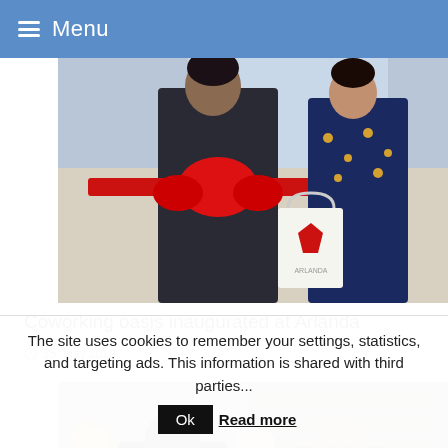Menu
[Figure (photo): People cutting a red ribbon at a ceremony, one person holding a white bag with a red diamond logo. Office interior visible in background.]
Coworking oasis inaugurated at Arlanda
15. May 2019
[Figure (photo): Three people (two men and a woman) cutting a large yellow cake together at what appears to be an interior lounge or office event. Fireplace and modern furnishings in background.]
The site uses cookies to remember your settings, statistics, and targeting ads. This information is shared with third parties...
Ok
Read more